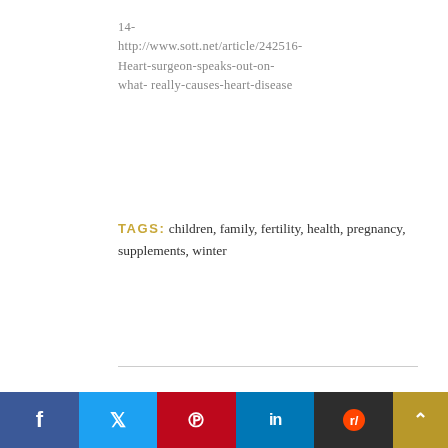14- http://www.sott.net/article/242516-Heart-surgeon-speaks-out-on-what- really-causes-heart-disease
TAGS: children, family, fertility, health, pregnancy, supplements, winter
You May Also Like
[Figure (photo): Book cover showing 'The Benefits And' text with green and teal color scheme]
Social sharing buttons: Facebook, Twitter, Pinterest, LinkedIn, Reddit, scroll-to-top